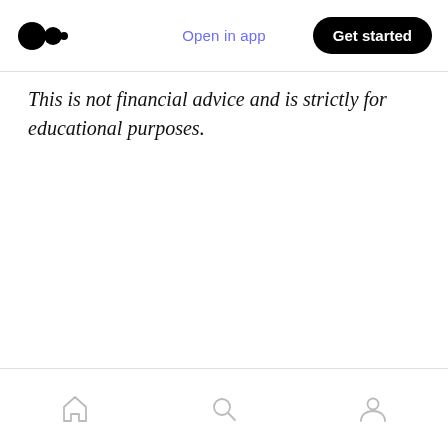Open in app  Get started
This is not financial advice and is strictly for educational purposes.
Home  Search  Profile